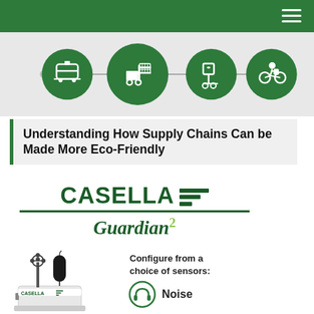Navigation bar with hamburger menu
[Figure (infographic): Icon strip showing supply chain transport icons: tram/train, forklift with pallet, delivery trolley, cyclist, and a connected node graphic on green circle backgrounds]
Understanding How Supply Chains Can be Made More Eco-Friendly
[Figure (logo): Casella Guardian2 product logo with three speed-stripe lines and italic Guardian2 text]
[Figure (photo): Casella Guardian2 environmental monitoring device with anemometer and microphone sensors, white casing with Casella logo]
Configure from a choice of sensors:
[Figure (infographic): Noise sensor icon — circular headphones icon with the label Noise]